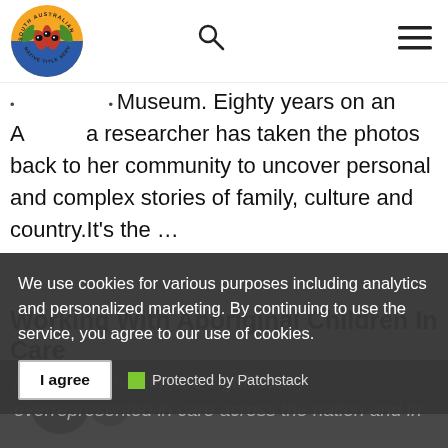South Australian Native Title Services logo with search and hamburger menu icons
Museum. Eighty years on an Anangu researcher has taken the photos back to her community to uncover personal and complex stories of family, culture and country.It's the …
Working With Aboriginal Children In Care
Aboriginal children are significantly overrepresented in care across the nation and in South Australia…
We use cookies for various purposes including analytics and personalized marketing. By continuing to use the service, you agree to our use of cookies.
I agree
Protected by Patchstack